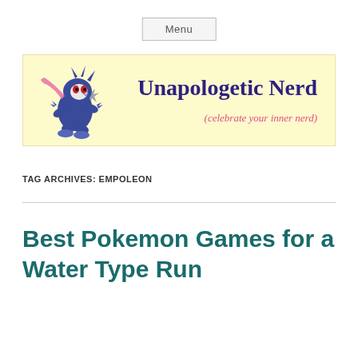Menu
[Figure (logo): Unapologetic Nerd blog banner with yellow background, a blue Greninja Pokemon illustration on the left, bold purple serif text 'Unapologetic Nerd' in center-right, and pink italic text '(celebrate your inner nerd)' at bottom right]
TAG ARCHIVES: EMPOLEON
Best Pokemon Games for a Water Type Run